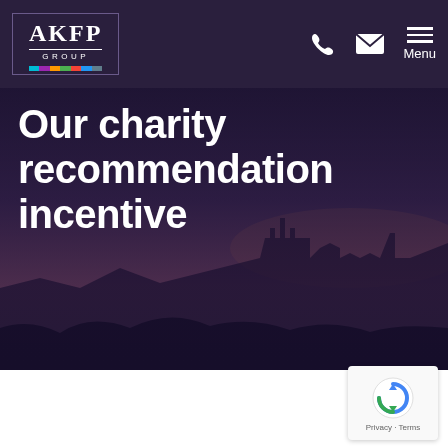[Figure (logo): AKFP Group logo with colored bar stripe at bottom, white text on dark purple background]
[Figure (illustration): Navigation bar with phone icon, email/envelope icon, and hamburger Menu button on dark purple background]
[Figure (photo): Hero banner showing a castle on rocky coast at dusk/twilight with dark purple overlay, large white bold text reading 'Our charity recommendation incentive']
Our charity recommendation incentive
[Figure (other): reCAPTCHA badge widget showing Google reCAPTCHA logo with Privacy - Terms text]